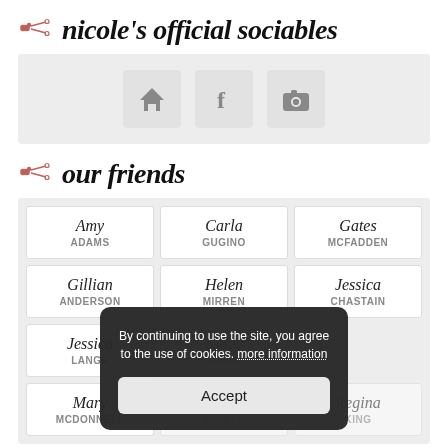nicole's official sociables
[Figure (screenshot): Social media icons: home, Facebook (f), and camera, displayed as grey square buttons on a light grey background]
our friends
| Amy ADAMS | Carla GUGINO | Gates MCFADDEN |
| Gillian ANDERSON | Helen MIRREN | Jessica CHASTAIN |
| Jessica LANGE | Katey SAGAL |  |
| Mary MCDONNELL | Meryl STREEP | Regina KING |
By continuing to use the site, you agree to the use of cookies. more information
Accept